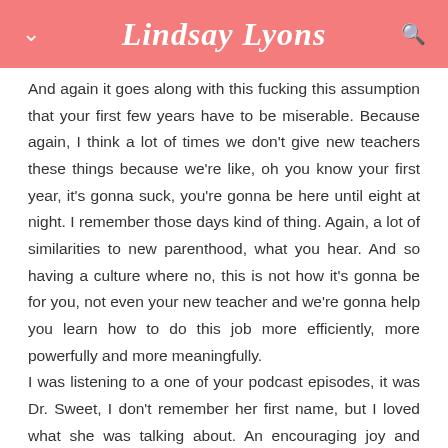Lindsay Lyons
And again it goes along with this fucking this assumption that your first few years have to be miserable. Because again, I think a lot of times we don't give new teachers these things because we're like, oh you know your first year, it's gonna suck, you're gonna be here until eight at night. I remember those days kind of thing. Again, a lot of similarities to new parenthood, what you hear. And so having a culture where no, this is not how it's gonna be for you, not even your new teacher and we're gonna help you learn how to do this job more efficiently, more powerfully and more meaningfully.
I was listening to a one of your podcast episodes, it was Dr. Sweet, I don't remember her first name, but I loved what she was talking about. An encouraging joy and passion